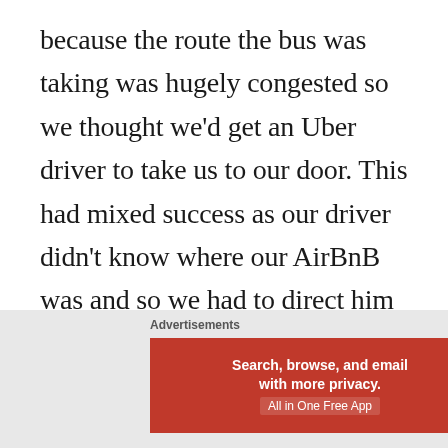because the route the bus was taking was hugely congested so we thought we'd get an Uber driver to take us to our door. This had mixed success as our driver didn't know where our AirBnB was and so we had to direct him even though we barely knew ourselves. The price of the journey from near the Old Town to the top of the hill was 25.62 Kuna or about
[Figure (other): DuckDuckGo advertisement banner: 'Search, browse, and email with more privacy. All in One Free App' on orange/red background with DuckDuckGo logo on dark background. Labeled 'Advertisements' above.]